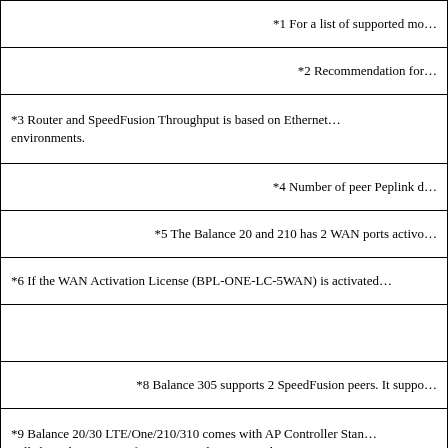| *1 For a list of supported mo… |
| *2 Recommendation for… |
| *3 Router and SpeedFusion Throughput is based on Ethernet… environments. |
| *4 Number of peer Peplink d… |
| *5 The Balance 20 and 210 has 2 WAN ports activo… |
| *6 If the WAN Activation License (BPL-ONE-LC-5WAN) is activated… |
|  |
| *8 Balance 305 supports 2 SpeedFusion peers. It suppo… |
| *9 Balance 20/30 LTE/One/210/310 comes with AP Controller Stan… will share the same configuration, and you can only manage AP… which supports multiple configuration profiles with… |
| *10 Balance 2500 is avail… |
| *11 … |